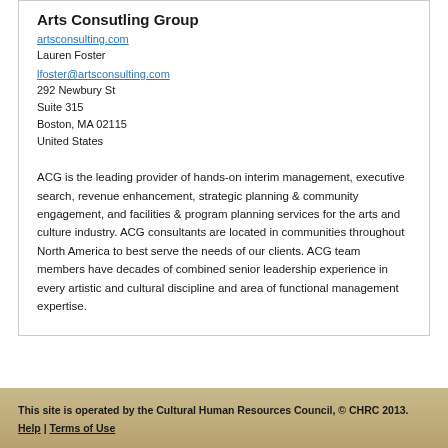Arts Consutling Group
artsconsulting.com
Lauren Foster
lfoster@artsconsulting.com
292 Newbury St
Suite 315
Boston, MA 02115
United States
ACG is the leading provider of hands-on interim management, executive search, revenue enhancement, strategic planning & community engagement, and facilities & program planning services for the arts and culture industry. ACG consultants are located in communities throughout North America to best serve the needs of our clients. ACG team members have decades of combined senior leadership experience in every artistic and cultural discipline and area of functional management expertise.
This site is operated by the Cultural Human Resources Council, © CHRC 2013.
Help | Terms of Use